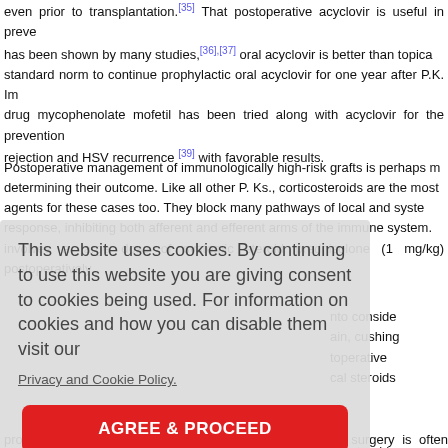even prior to transplantation.[35] That postoperative acyclovir is useful in preve... has been shown by many studies,[36],[37] oral acyclovir is better than topica... standard norm to continue prophylactic oral acyclovir for one year after P.K. Im... drug mycophenolate mofetil has been tried along with acyclovir for the prevention... rejection and HSV recurrence [39] with favorable results.
Postoperative management of immunologically high-risk grafts is perhaps n... determining their outcome. Like all other P. Ks., corticosteroids are the mos... agents for these cases too. They block many pathways of local and syste... response, inhibiting both afferent and efferent arms of the immune system.... involves a large dose of systemic steroid prednisolone (1 mg/kg) postoperatively...
This website uses cookies. By continuing to use this website you are giving consent to cookies being used. For information on cookies and how you can disable them visit our Privacy and Cookie Policy.
prolongation of steroid treatment beyond 18 months of surgery is often required...